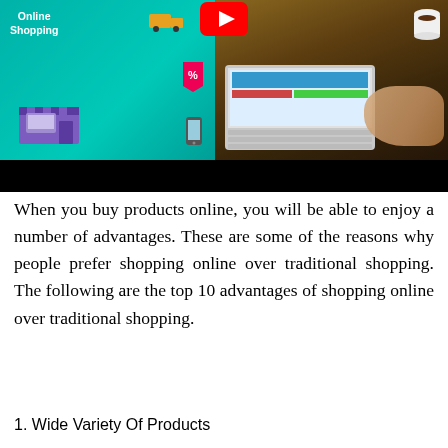[Figure (illustration): Composite image showing online shopping illustration on teal background (left) with store icon, truck, and percentage tag, and a photo of a person using a laptop on a wooden desk (right). A YouTube play button icon appears at top. A black bar runs across the bottom of the image.]
When you buy products online, you will be able to enjoy a number of advantages. These are some of the reasons why people prefer shopping online over traditional shopping. The following are the top 10 advantages of shopping online over traditional shopping.
1. Wide Variety Of Products